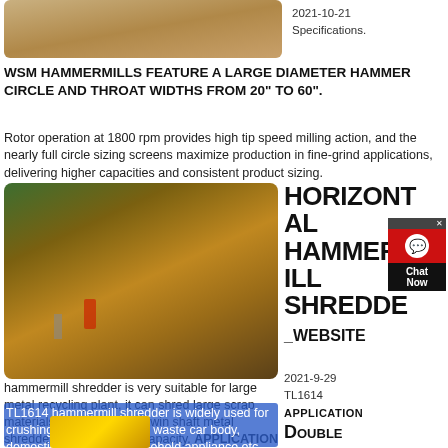[Figure (photo): Top strip showing sandy/earthy colored terrain]
2021-10-21
Specifications.
WSM HAMMERMILLS FEATURE A LARGE DIAMETER HAMMER CIRCLE AND THROAT WIDTHS FROM 20" TO 60".
Rotor operation at 1800 rpm provides high tip speed milling action, and the nearly full circle sizing screens maximize production in fine-grind applications, delivering higher capacities and consistent product sizing.
get price
[Figure (photo): Mining/quarry site with machinery, conveyors, and workers on reddish-brown earth]
HORIZONTAL HAMMERMILL SHREDDER_WEBSITE
2021-9-29
TL1614
hammermill shredder is very suitable for large metal recycling plant, it can shred large scrap materials directly, or from twin shaft metal shredder to increase the capacity. APPLICATION
TL1614 hammermill shredder is widely used for crushing scrap metals like waste car body, domestic light scrap, household appliance,etc.
Double Rotor Hammer Mill